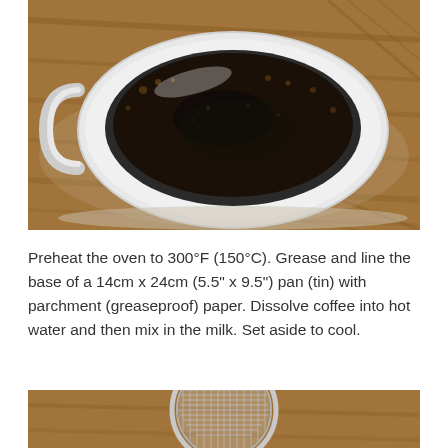[Figure (photo): Overhead view of a white ceramic coffee cup filled with black coffee, sitting on a wooden surface. The coffee surface shows small bubbles and foam residue around the edges.]
Preheat the oven to 300°F (150°C). Grease and line the base of a 14cm x 24cm (5.5" x 9.5") pan (tin) with parchment (greaseproof) paper. Dissolve coffee into hot water and then mix in the milk. Set aside to cool.
[Figure (photo): Overhead view of a metal strainer or sieve with a round wire mesh, sitting on a wooden surface.]